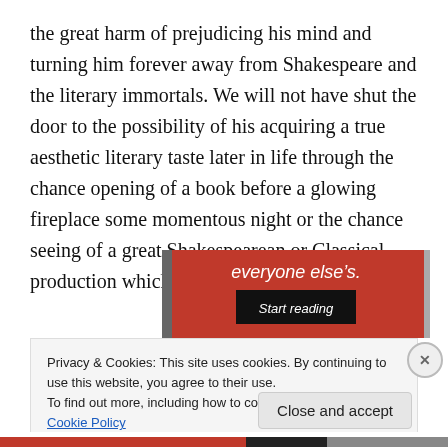the great harm of prejudicing his mind and turning him forever away from Shakespeare and the literary immortals. We will not have shut the door to the possibility of his acquiring a true aesthetic literary taste later in life through the chance opening of a book before a glowing fireplace some momentous night or the chance seeing of a great Shakespearean or Classical production which may ignite the spark.”
[Figure (screenshot): Red advertisement banner with text 'everyone else's.' and a black 'Start reading' button]
Privacy & Cookies: This site uses cookies. By continuing to use this website, you agree to their use.
To find out more, including how to control cookies, see here: Cookie Policy
Close and accept